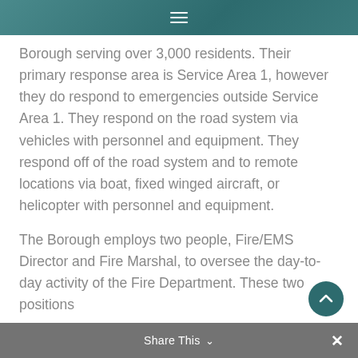≡
Borough serving over 3,000 residents. Their primary response area is Service Area 1, however they do respond to emergencies outside Service Area 1. They respond on the road system via vehicles with personnel and equipment. They respond off of the road system and to remote locations via boat, fixed winged aircraft, or helicopter with personnel and equipment.
The Borough employs two people, Fire/EMS Director and Fire Marshal, to oversee the day-to-day activity of the Fire Department. These two positions
Share This ∨  ✕